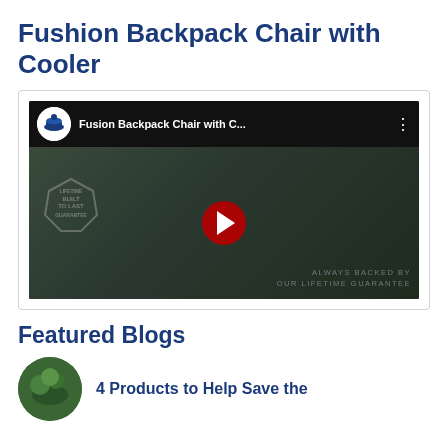Fushion Backpack Chair with Cooler
[Figure (screenshot): YouTube video thumbnail showing a person carrying a backpack chair outdoors with 'Fusion Backpack Chair with C...' as the title, a red play button, 'BUILT TO LAST LIFETIME GUARANTEE' watermark, and 'ALWAYS BACKED BY OUR LIFETIME GUARANTEE' text at the bottom.]
Featured Blogs
4 Products to Help Save the